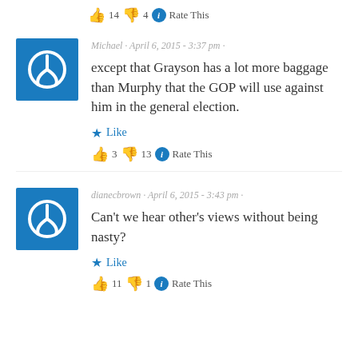👍 14 👎 4 ℹ Rate This
Michael · April 6, 2015 - 3:37 pm
except that Grayson has a lot more baggage than Murphy that the GOP will use against him in the general election.
★ Like
👍 3 👎 13 ℹ Rate This
dianecbrown · April 6, 2015 - 3:43 pm
Can't we hear other's views without being nasty?
★ Like
👍 11 👎 1 ℹ Rate This